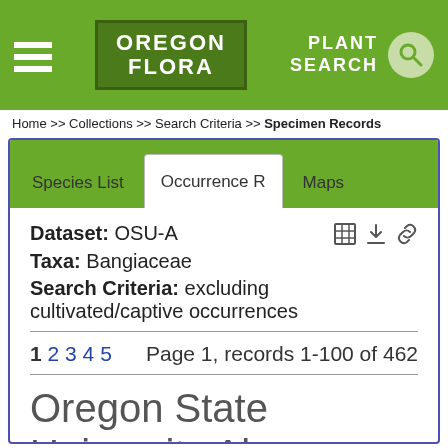OREGON FLORA | PLANT SEARCH
Home >> Collections >> Search Criteria >> Specimen Records
Species List | Occurrence R | Maps
Dataset: OSU-A
Taxa: Bangiaceae
Search Criteria: excluding cultivated/captive occurrences
1 2 3 4 5   Page 1, records 1-100 of 462
Oregon State University Algae